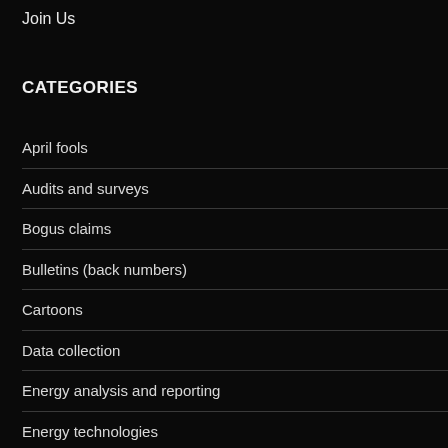Join Us
CATEGORIES
April fools
Audits and surveys
Bogus claims
Bulletins (back numbers)
Cartoons
Data collection
Energy analysis and reporting
Energy technologies
Energy training